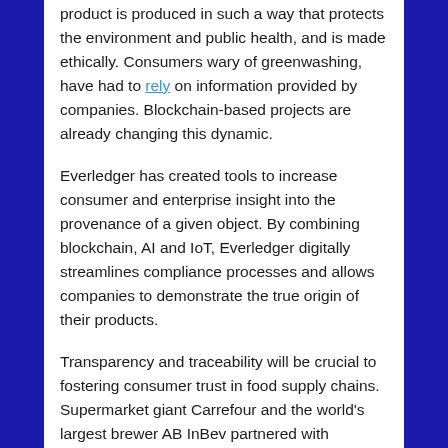product is produced in such a way that protects the environment and public health, and is made ethically. Consumers wary of greenwashing, have had to rely on information provided by companies. Blockchain-based projects are already changing this dynamic.
Everledger has created tools to increase consumer and enterprise insight into the provenance of a given object. By combining blockchain, AI and IoT, Everledger digitally streamlines compliance processes and allows companies to demonstrate the true origin of their products.
Transparency and traceability will be crucial to fostering consumer trust in food supply chains. Supermarket giant Carrefour and the world's largest brewer AB InBev partnered with enterprise blockchain developer SettleMint to deliver a digital traceability solution that utilizes dynamic QR codes attached to a product during the packaging process.